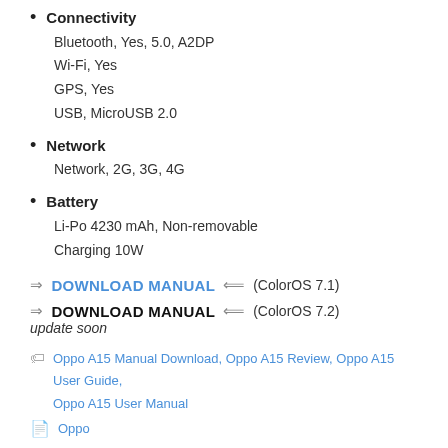Connectivity
Bluetooth, Yes, 5.0, A2DP
Wi-Fi, Yes
GPS, Yes
USB, MicroUSB 2.0
Network
Network, 2G, 3G, 4G
Battery
Li-Po 4230 mAh, Non-removable
Charging 10W
⇒ DOWNLOAD MANUAL ← (ColorOS 7.1)
⇒ DOWNLOAD MANUAL ← (ColorOS 7.2) update soon
Oppo A15 Manual Download, Oppo A15 Review, Oppo A15 User Guide, Oppo A15 User Manual
Oppo
Realmo C15 Manual / User    Oppo Reno5 5G, Reno5 Pro 5G